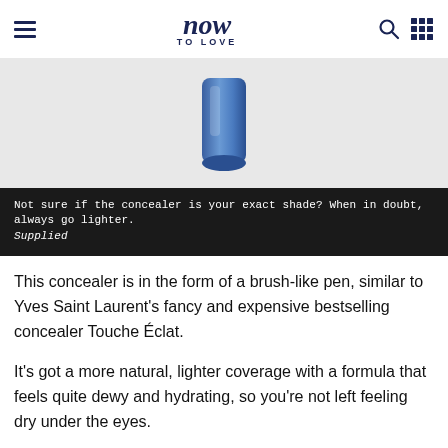now TO LOVE
[Figure (photo): Bottom portion of a blue cosmetic pen/concealer product against a light grey background]
Not sure if the concealer is your exact shade? When in doubt, always go lighter. Supplied
This concealer is in the form of a brush-like pen, similar to Yves Saint Laurent's fancy and expensive bestselling concealer Touche Éclat.
It's got a more natural, lighter coverage with a formula that feels quite dewy and hydrating, so you're not left feeling dry under the eyes.
Plus, it's sold at Coles and Woolies, as well as the chemist, so you can pick it up the next time you're doing